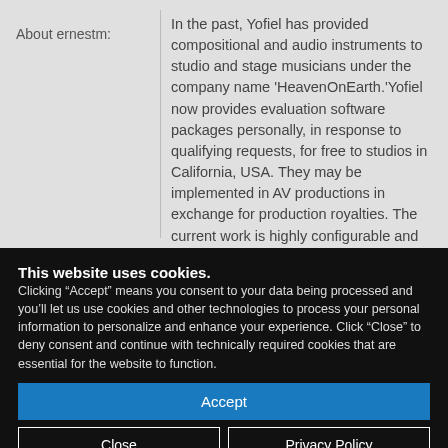About ernestm:
In the past, Yofiel has provided compositional and audio instruments to studio and stage musicians under the company name 'HeavenOnEarth.'Yofiel now provides evaluation software packages personally, in response to qualifying requests, for free to studios in California, USA. They may be implemented in AV productions in exchange for production royalties. The current work is highly configurable and personally installed on site. Please use the contact form on this site for more information.
This website uses cookies. Clicking “Accept” means you consent to your data being processed and you’ll let us use cookies and other technologies to process your personal information to personalize and enhance your experience. Click “Close” to deny consent and continue with technically required cookies that are essential for the website to function.